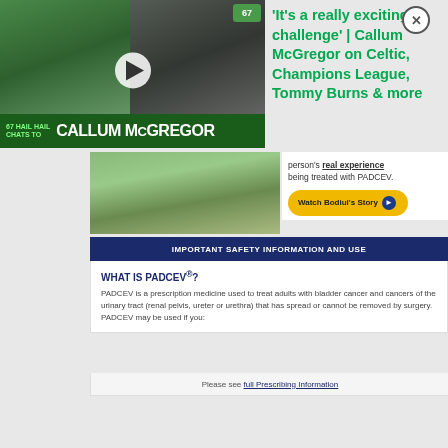[Figure (screenshot): Sports video thumbnail showing two football players in green Celtic kits with '67 Hail Hail Chats to Callum McGregor' banner and play button overlay]
'It's a really exciting challenge' | Callum McGregor on Celtic, Champions League, Tommy Burns & more
[Figure (photo): Outdoor scene with green field/grass, partial medical advertisement image for PADCEV]
person's real experience being treated with PADCEV.
Watch Bodiul's Story
IMPORTANT SAFETY INFORMATION AND USE
WHAT IS PADCEV®?
PADCEV is a prescription medicine used to treat adults with bladder cancer and cancers of the urinary tract (renal pelvis, ureter or urethra) that has spread or cannot be removed by surgery. PADCEV may be used if you:
Please see full Prescribing Information